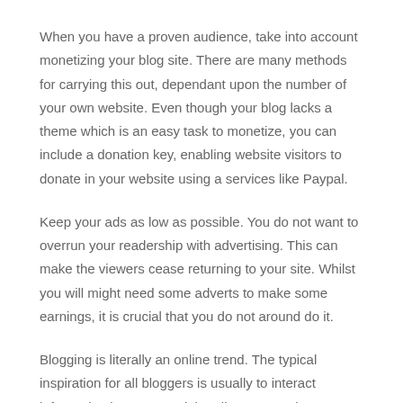When you have a proven audience, take into account monetizing your blog site. There are many methods for carrying this out, dependant upon the number of your own website. Even though your blog lacks a theme which is an easy task to monetize, you can include a donation key, enabling website visitors to donate in your website using a services like Paypal.
Keep your ads as low as possible. You do not want to overrun your readership with advertising. This can make the viewers cease returning to your site. Whilst you will might need some adverts to make some earnings, it is crucial that you do not around do it.
Blogging is literally an online trend. The typical inspiration for all bloggers is usually to interact information into a potential audience. Use the information from the piece you possess just read to assist you create your blog effective at supplying your concept to the right men and women.